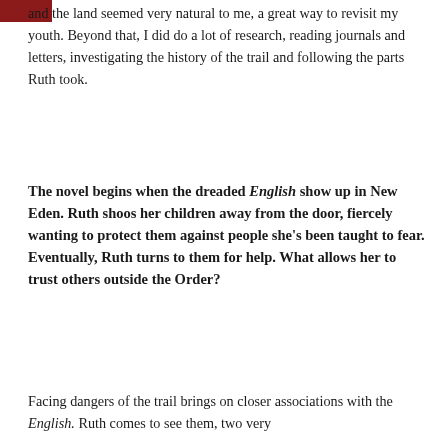and the land seemed very natural to me, a great way to revisit my youth. Beyond that, I did do a lot of research, reading journals and letters, investigating the history of the trail and following the parts Ruth took.
The novel begins when the dreaded English show up in New Eden. Ruth shoos her children away from the door, fiercely wanting to protect them against people she's been taught to fear. Eventually, Ruth turns to them for help. What allows her to trust others outside the Order?
Facing dangers of the trail brings on closer associations with the English. Ruth comes to see them, two very